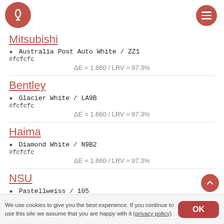Mitsubishi
★ Australia Post Auto White / ZZ1
#fcfcfc
ΔE = 1.660 / LRV ≈ 97.3%
Bentley
★ Glacier White / LA9B
#fcfcfc
ΔE = 1.660 / LRV ≈ 97.3%
Haima
★ Diamond White / N9B2
#fcfcfc
ΔE = 1.660 / LRV ≈ 97.3%
NSU
★ Pastellweiss / 105
We use cookies to give you the best experience. If you continue to use this site we assume that you are happy with it (privacy policy)